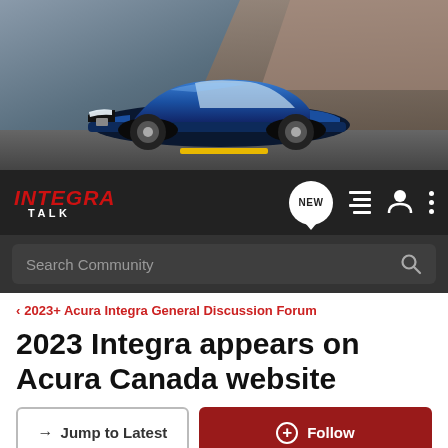[Figure (photo): Blue Acura Integra sports car driving on a winding road with rocky terrain in background, hero banner image]
INTEGRA TALK — Navigation bar with NEW, list, user, and menu icons, plus Search Community search bar
< 2023+ Acura Integra General Discussion Forum
2023 Integra appears on Acura Canada website
→ Jump to Latest   + Follow
Add Yours: 2023 Acura Integra Reservation Tracking